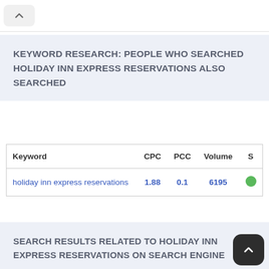^
KEYWORD RESEARCH: PEOPLE WHO SEARCHED HOLIDAY INN EXPRESS RESERVATIONS ALSO SEARCHED
| Keyword | CPC | PCC | Volume | S |
| --- | --- | --- | --- | --- |
| holiday inn express reservations | 1.88 | 0.1 | 6195 |  |
SEARCH RESULTS RELATED TO HOLIDAY INN EXPRESS RESERVATIONS ON SEARCH ENGINE